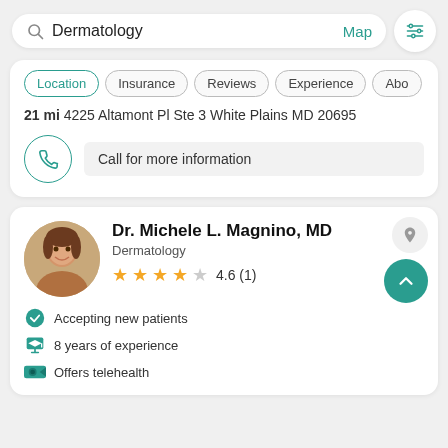[Figure (screenshot): Search bar with magnifying glass icon, text 'Dermatology', Map link, and filter icon button]
Location
Insurance
Reviews
Experience
Abo
21 mi 4225 Altamont Pl Ste 3 White Plains MD 20695
Call for more information
Dr. Michele L. Magnino, MD
Dermatology
4.6 (1)
Accepting new patients
8 years of experience
Offers telehealth